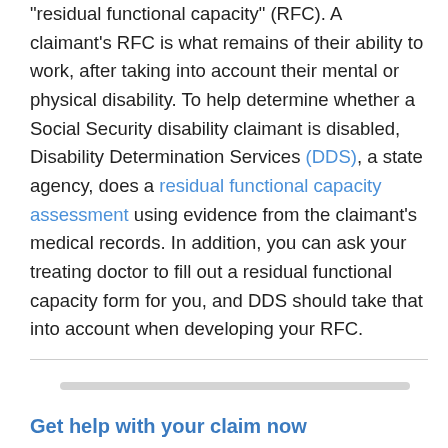"residual functional capacity" (RFC). A claimant's RFC is what remains of their ability to work, after taking into account their mental or physical disability. To help determine whether a Social Security disability claimant is disabled, Disability Determination Services (DDS), a state agency, does a residual functional capacity assessment using evidence from the claimant's medical records. In addition, you can ask your treating doctor to fill out a residual functional capacity form for you, and DDS should take that into account when developing your RFC.
Get help with your claim now